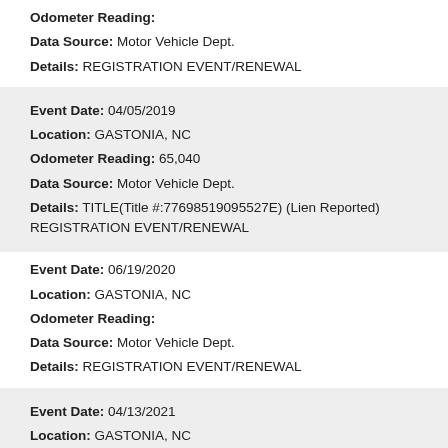Odometer Reading:
Data Source: Motor Vehicle Dept.
Details: REGISTRATION EVENT/RENEWAL
Event Date: 04/05/2019
Location: GASTONIA, NC
Odometer Reading: 65,040
Data Source: Motor Vehicle Dept.
Details: TITLE(Title #:77698519095527E) (Lien Reported) REGISTRATION EVENT/RENEWAL
Event Date: 06/19/2020
Location: GASTONIA, NC
Odometer Reading:
Data Source: Motor Vehicle Dept.
Details: REGISTRATION EVENT/RENEWAL
Event Date: 04/13/2021
Location: GASTONIA, NC
Odometer Reading:
Data Source: Motor Vehicle Dept.